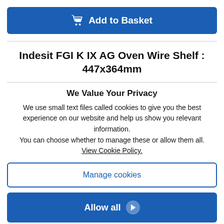Add to Basket
Indesit FGI K IX AG Oven Wire Shelf : 447x364mm
We Value Your Privacy
We use small text files called cookies to give you the best experience on our website and help us show you relevant information.
You can choose whether to manage these or allow them all.
View Cookie Policy.
Manage cookies
Allow all